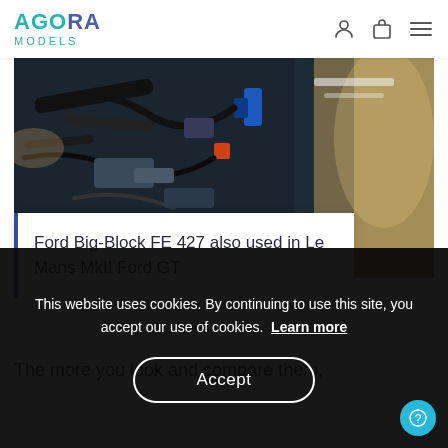AGORA MODELS
[Figure (photo): Close-up photograph of a Ford Big-Block FE 427 engine showing mechanical parts, hoses, blue and orange components against a dark background with some lighter areas on the right side.]
Ford Big-Block FE 427 also used in Le Mans MkII Ford GT
The more you look and compare them,
This website uses cookies. By continuing to use this site, you accept our use of cookies.  Learn more
Accept